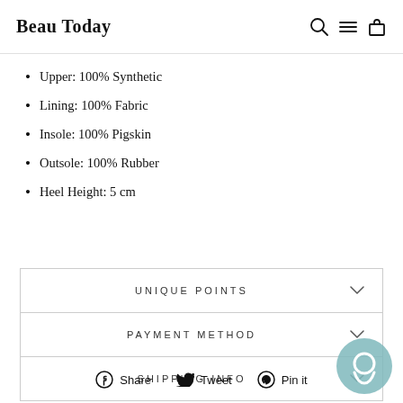Beau Today
Upper: 100% Synthetic
Lining: 100% Fabric
Insole: 100% Pigskin
Outsole: 100% Rubber
Heel Height: 5 cm
UNIQUE POINTS
PAYMENT METHOD
SHIPPING INFO
Share  Tweet  Pin it